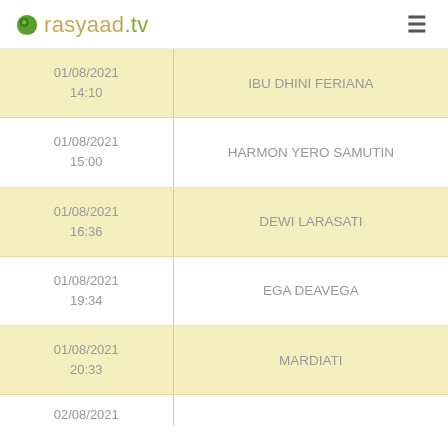rasyaad.tv
| Date/Time | Name |
| --- | --- |
| 01/08/2021 14:10 | IBU DHINI FERIANA |
| 01/08/2021 15:00 | HARMON YERO SAMUTIN |
| 01/08/2021 16:36 | DEWI LARASATI |
| 01/08/2021 19:34 | EGA DEAVEGA |
| 01/08/2021 20:33 | MARDIATI |
| 02/08/2021 |  |